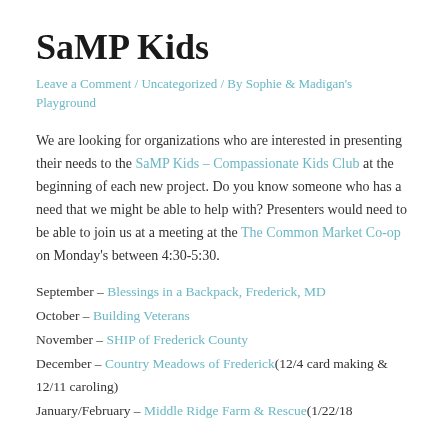SaMP Kids
Leave a Comment / Uncategorized / By Sophie & Madigan's Playground
We are looking for organizations who are interested in presenting their needs to the SaMP Kids – Compassionate Kids Club at the beginning of each new project. Do you know someone who has a need that we might be able to help with? Presenters would need to be able to join us at a meeting at the The Common Market Co-op on Monday's between 4:30-5:30.
September – Blessings in a Backpack, Frederick, MD
October – Building Veterans
November – SHIP of Frederick County
December – Country Meadows of Frederick(12/4 card making & 12/11 caroling)
January/February – Middle Ridge Farm & Rescue(1/22/18